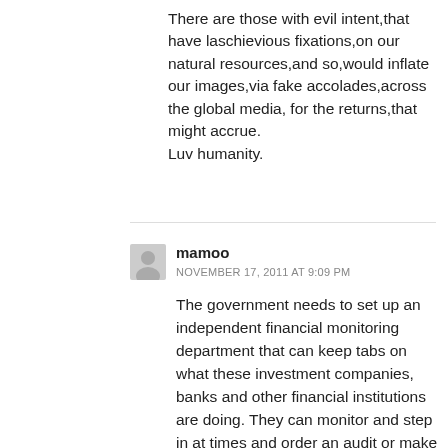There are those with evil intent,that have laschievious fixations,on our natural resources,and so,would inflate our images,via fake accolades,across the global media, for the returns,that might accrue.
Luv humanity.
mamoo
NOVEMBER 17, 2011 AT 9:09 PM
The government needs to set up an independent financial monitoring department that can keep tabs on what these investment companies, banks and other financial institutions are doing. They can monitor and step in at times and order an audit or make suggestions in the way the company is handling it's affairs. Tight regulation is needed or government will be sending tax dollars to rescue dead management. The PNM sent $5 billion in the CLICO sinkhole. Why??? That could have been